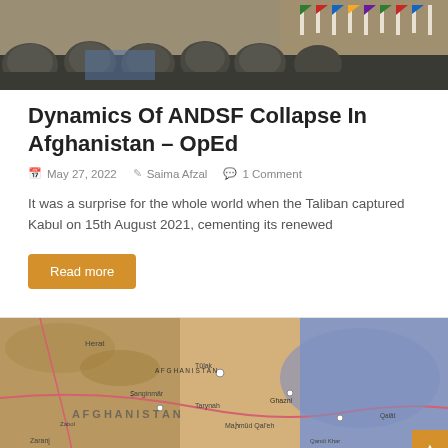[Figure (photo): Row of soldiers wearing dark military helmets, viewed from behind, with colorful flags in the background]
Dynamics Of ANDSF Collapse In Afghanistan – OpEd
May 27, 2022   Saima Afzal   1 Comment
It was a surprise for the whole world when the Taliban captured Kabul on 15th August 2021, cementing its renewed
Read more
[Figure (photo): Close-up photograph of a map of Afghanistan showing cities and geographic features]